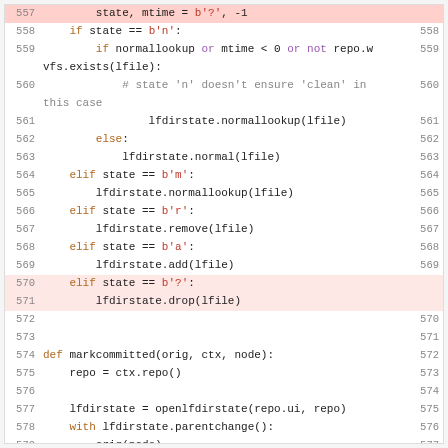[Figure (screenshot): Code diff view showing Python source lines 557-579 on left and 558-577 on right, with some lines highlighted in red/pink indicating changes. The code involves state checking and lfdirstate operations in a version control context.]